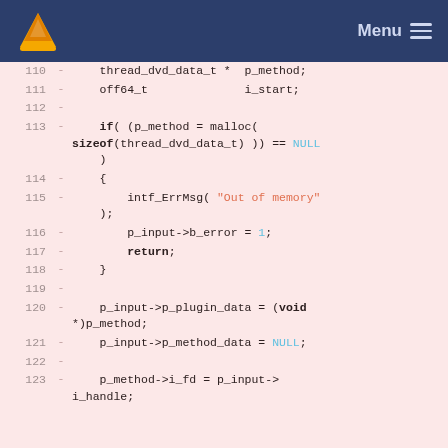[Figure (screenshot): VLC media player website navigation bar with VLC cone logo on the left and Menu hamburger button on the right, dark navy blue background.]
Code diff view showing lines 110-123 of a C source file with deleted lines (marked with -) on a pink/rose background. Lines include thread_dvd_data_t and related DVD input plugin initialization code.